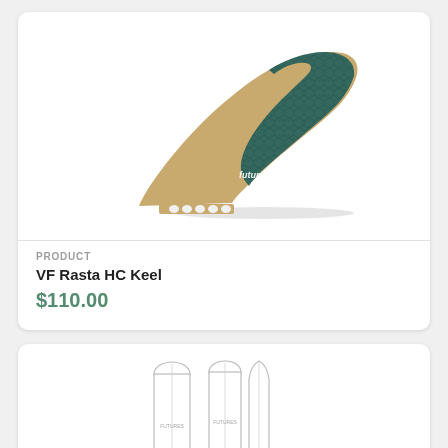[Figure (photo): A surfboard fin (VF Rasta HC Keel) with a tan/bamboo body and dark teal upper section with a honeycomb pattern, showing the 'futures.' brand logo. The fin has a scalloped base tab.]
PRODUCT
VF Rasta HC Keel
$110.00
[Figure (photo): Three surfboards shown from above/side view: two with rounded noses (longboards, white with thin dark rails) and one narrower pointed board, displayed vertically side by side, partially cropped.]